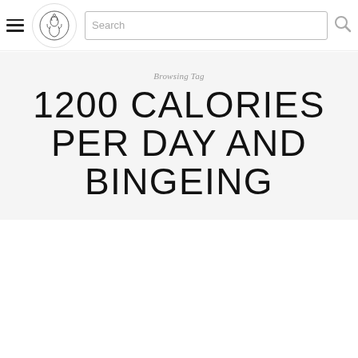Navigation header with hamburger menu, site logo, and search bar
Browsing Tag
1200 CALORIES PER DAY AND BINGEING